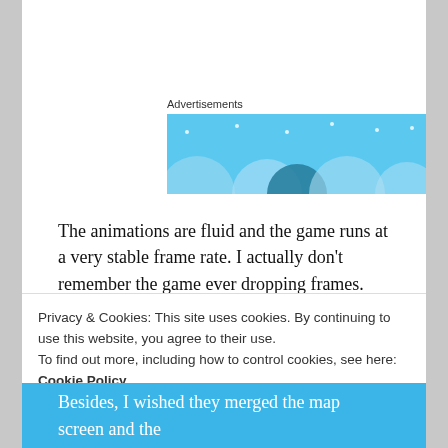[Figure (illustration): Advertisement banner with a light blue background showing semicircular shapes and star/dot decorations]
The animations are fluid and the game runs at a very stable frame rate. I actually don't remember the game ever dropping frames. Also, I really like how there are two save slots. This way you have tried for two very different runs.
In terms of the UI, there is one minor thing I have to
Privacy & Cookies: This site uses cookies. By continuing to use this website, you agree to their use.
To find out more, including how to control cookies, see here: Cookie Policy
Besides, I wished they merged the map screen and the